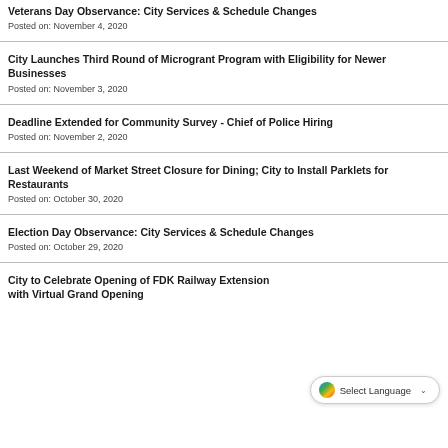Veterans Day Observance: City Services & Schedule Changes
Posted on: November 4, 2020
City Launches Third Round of Microgrant Program with Eligibility for Newer Businesses
Posted on: November 3, 2020
Deadline Extended for Community Survey - Chief of Police Hiring
Posted on: November 2, 2020
Last Weekend of Market Street Closure for Dining; City to Install Parklets for Restaurants
Posted on: October 30, 2020
Election Day Observance: City Services & Schedule Changes
Posted on: October 29, 2020
City to Celebrate Opening of FDK Railway Extension with Virtual Grand Opening